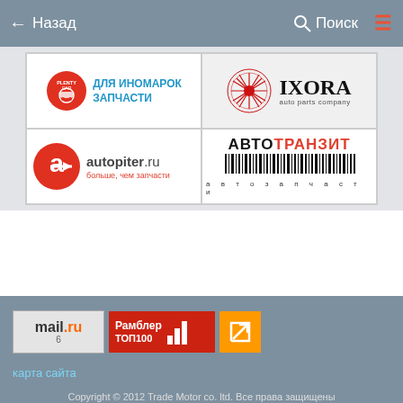← Назад   🔍 Поиск   ☰
[Figure (logo): Banner: Plenty Car - ДЛЯ ИНОМАРОК ЗАПЧАСТИ]
[Figure (logo): Banner: IXORA auto parts company]
[Figure (logo): Banner: autopiter.ru - больше, чем запчасти]
[Figure (logo): Banner: АВТОТРАНЗИТ автозапчасти with barcode]
mail.ru 6   Рамблер ТОП100   карта сайта   Copyright © 2012 Trade Motor co. ltd. Все права защищены katsuroparts.ru - ЭКСПЕРТ В МИРЕ ПОДВЕСКИ!